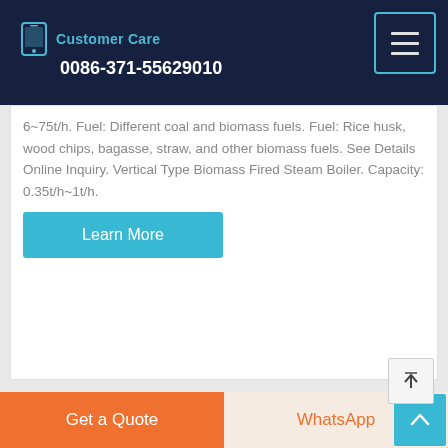Customer Care 0086-371-55629010
6~75t/h. Fuel: Different coal and biomass fuels. Fuel: Rice husk, wood chips, bagasse, straw, and other biomass fuels. See Details Online Inquiry. Vertical Type Biomass Fired Steam Boiler. Capacity: 0.35t/h~1t/h.
Learn More
Biomass Energy
Get a Quote | WhatsApp